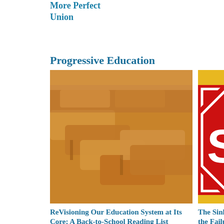More Perfect Union
Progressive Education
[Figure (photo): Photo of classroom desks arranged in rows, warm orange/brown tones]
ReVisioning Our Education System at Its Core: A Back-to-School Reading List
[Figure (photo): Photo of a red STOP sign next to a yellow school bus]
The Sinking Ship of Public Education and the Failure of Choice
[Figure (photo): Photo of two people, a woman and a man, appearing to have a conversation]